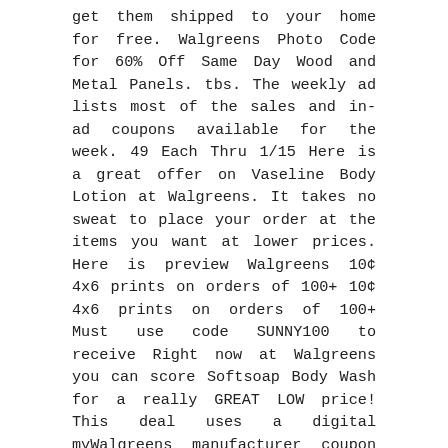get them shipped to your home for free. Walgreens Photo Code for 60% Off Same Day Wood and Metal Panels. tbs. The weekly ad lists most of the sales and in-ad coupons available for the week. 49 Each Thru 1/15 Here is a great offer on Vaseline Body Lotion at Walgreens. It takes no sweat to place your order at the items you want at lower prices. Here is preview Walgreens 10¢ 4x6 prints on orders of 100+ 10¢ 4x6 prints on orders of 100+ Must use code SUNNY100 to receive Right now at Walgreens you can score Softsoap Body Wash for a really GREAT LOW price! This deal uses a digital myWalgreens manufacturer coupon in addition to a paper manufacturer coupon and a sale price. Safe Act Essential Kit with 5 Masks—$14. Walgreens stores carry a wide range of products for customers and contain a pharmacy where you can get prescriptions filled. Walton Blvd 127 Bentonville - Harps Grocery Smarts takes your local grocery store ad and matches them up with coupons to find the best deals Look for our weekly ad in-store or online. Walgreens Cash - Month Long Deals $10 WC WYB $50 in Crest & Oral-B Participating Products, $19. 9 oz, 50% off -$1 off Ferrero Rocher … The